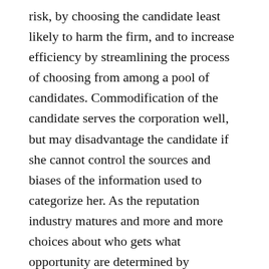risk, by choosing the candidate least likely to harm the firm, and to increase efficiency by streamlining the process of choosing from among a pool of candidates. Commodification of the candidate serves the corporation well, but may disadvantage the candidate if she cannot control the sources and biases of the information used to categorize her. As the reputation industry matures and more and more choices about who gets what opportunity are determined by abstracting people into symbols and treating them like graded commodities, the risk that people seeking opportunities become